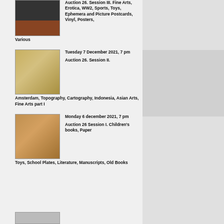[Figure (photo): Partial auction listing image at top, dark/artistic poster thumbnail]
Auction 26. Session III. Fine Arts, Erotica, WW2, Sports, Toys, Ephemera and Picture Postcards, Vinyl, Posters, Various
[Figure (photo): Old world map thumbnail for auction listing]
Tuesday 7 December 2021, 7 pm
Auction 26. Session II. Amsterdam, Topography, Cartography, Indonesia, Asian Arts, Fine Arts part I
[Figure (photo): Illustrated book cover or print thumbnail for auction listing]
Monday 6 december 2021, 7 pm
Auction 26 Session I. Children's books, Paper Toys, School Plates, Literature, Manuscripts, Old Books
[Figure (photo): Sidebar grey box placeholder]
[Figure (photo): Partial thumbnail at bottom of page]